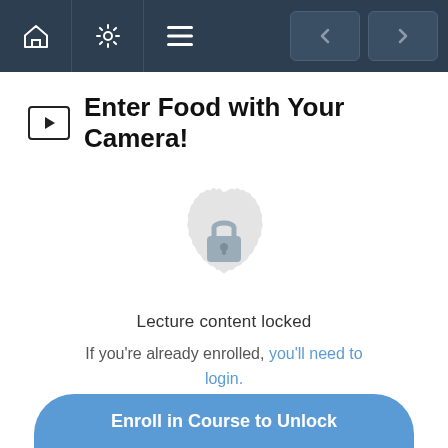Navigation bar with home, settings, menu icons and back/forward buttons
Enter Food with Your Camera!
[Figure (illustration): A circular badge/gear icon with a padlock in the center, indicating locked content. The icon is light gray with a decorative scalloped border.]
Lecture content locked
If you're already enrolled, you'll need to login.
Enroll in Course to Unlock